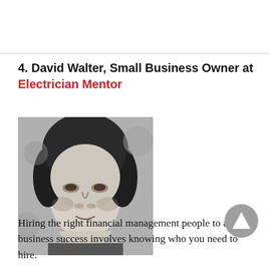4. David Walter, Small Business Owner at Electrician Mentor
[Figure (photo): Black and white portrait photo of a middle-aged man, close-up face shot, outdoor background with foliage]
Hiring the right financial management people to achieve business success involves knowing who you need to hire.